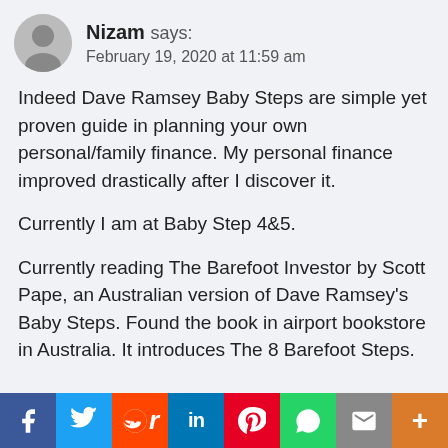Nizam says: February 19, 2020 at 11:59 am
Indeed Dave Ramsey Baby Steps are simple yet proven guide in planning your own personal/family finance. My personal finance improved drastically after I discover it.
Currently I am at Baby Step 4&5.
Currently reading The Barefoot Investor by Scott Pape, an Australian version of Dave Ramsey's Baby Steps. Found the book in airport bookstore in Australia. It introduces The 8 Barefoot Steps.